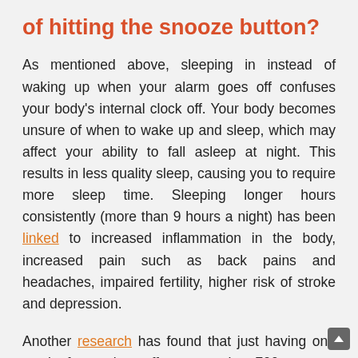of hitting the snooze button?
As mentioned above, sleeping in instead of waking up when your alarm goes off confuses your body's internal clock off. Your body becomes unsure of when to wake up and sleep, which may affect your ability to fall asleep at night. This results in less quality sleep, causing you to require more sleep time. Sleeping longer hours consistently (more than 9 hours a night) has been linked to increased inflammation in the body, increased pain such as back pains and headaches, impaired fertility, higher risk of stroke and depression.
Another research has found that just having one week of poor sleep affects more than 700 genes